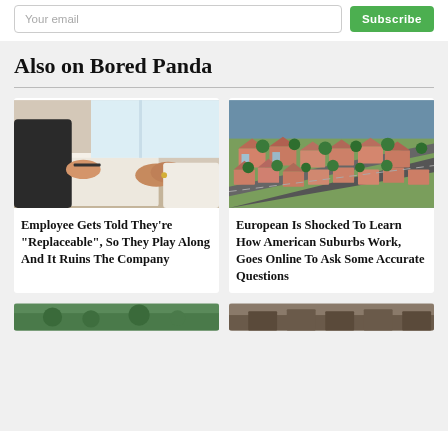Your email | Subscribe
Also on Bored Panda
[Figure (photo): Two people at a desk, one holding a pen over papers, and the other with hands clasped]
Employee Gets Told They're "Replaceable", So They Play Along And It Ruins The Company
[Figure (photo): Aerial view of an American suburb with rows of houses, red tile roofs, and tree-lined streets]
European Is Shocked To Learn How American Suburbs Work, Goes Online To Ask Some Accurate Questions
[Figure (photo): Partially visible thumbnail at the bottom left]
[Figure (photo): Partially visible thumbnail at the bottom right]